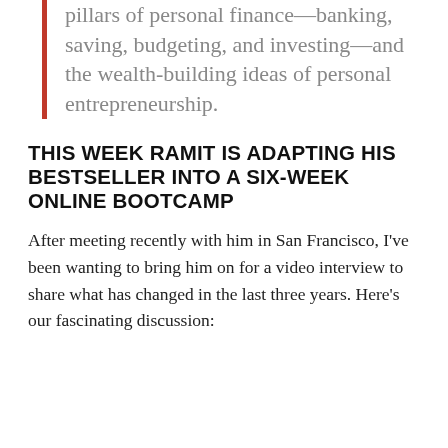pillars of personal finance—banking, saving, budgeting, and investing—and the wealth-building ideas of personal entrepreneurship.
THIS WEEK RAMIT IS ADAPTING HIS BESTSELLER INTO A SIX-WEEK ONLINE BOOTCAMP
After meeting recently with him in San Francisco, I've been wanting to bring him on for a video interview to share what has changed in the last three years. Here's our fascinating discussion: